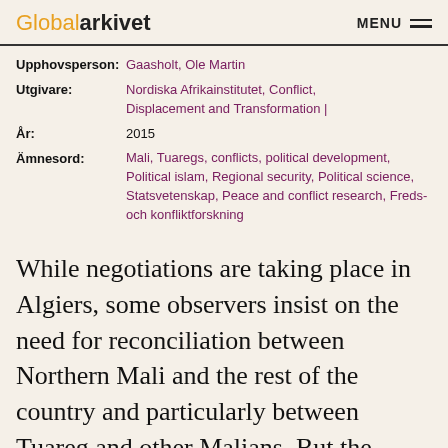Globalarkivet  MENU
| Upphovsperson: | Gaasholt, Ole Martin |
| Utgivare: | Nordiska Afrikainstitutet, Conflict, Displacement and Transformation | |
| År: | 2015 |
| Ämnesord: | Mali, Tuaregs, conflicts, political development, Political islam, Regional security, Political science, Statsvetenskap, Peace and conflict research, Freds- och konfliktforskning |
While negotiations are taking place in Algiers, some observers insist on the need for reconciliation between Northern Mali and the rest of the country and particularly between Tuareg and other Malians. But the Tuareg are a minority in Northern Mali and most of them did not support the rebels. Some observers...